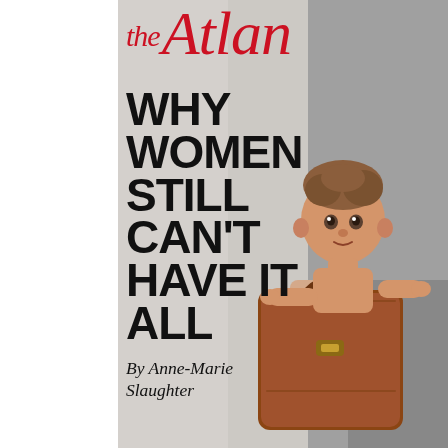the Atlantic
[Figure (photo): Magazine cover of The Atlantic showing a toddler/baby sitting inside an open brown leather briefcase, being carried by an adult (only legs and hand visible, wearing gray). The baby is shirtless with curly hair and looks at the camera. Background is light gray.]
WHY WOMEN STILL CAN'T HAVE IT ALL
By Anne-Marie Slaughter